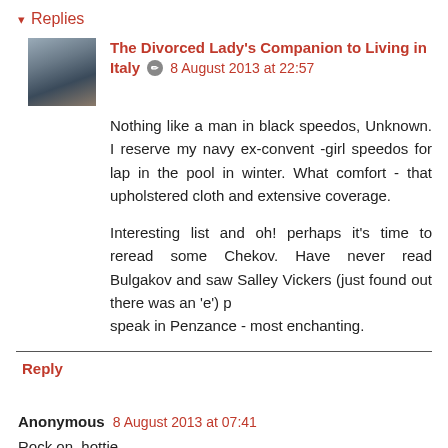▾ Replies
The Divorced Lady's Companion to Living in Italy 🖊 8 August 2013 at 22:57
Nothing like a man in black speedos, Unknown. I reserve my navy ex-convent -girl speedos for lap in the pool in winter. What comfort - that upholstered cloth and extensive coverage.

Interesting list and oh! perhaps it's time to reread some Chekov. Have never read Bulgakov and saw Salley Vickers (just found out there was an 'e') p
speak in Penzance - most enchanting.
Reply
Anonymous 8 August 2013 at 07:41
Rock on, hottie.